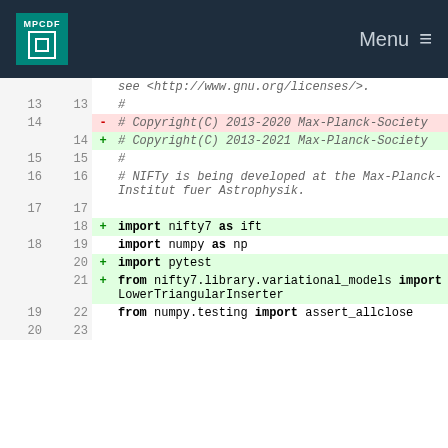MPCDF  Menu
[Figure (screenshot): Code diff view showing changes to a Python file. Lines 13-23 shown with old/new line numbers, removal of 2020 replaced with 2021 in copyright, and addition of import nifty7, import pytest, and from nifty7.library.variational_models import LowerTriangularInserter lines.]